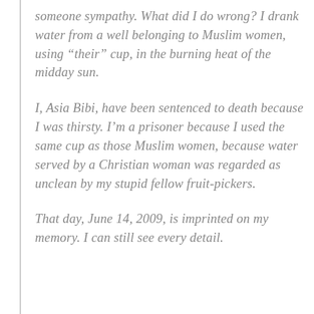someone sympathy. What did I do wrong? I drank water from a well belonging to Muslim women, using “their” cup, in the burning heat of the midday sun.
I, Asia Bibi, have been sentenced to death because I was thirsty. I’m a prisoner because I used the same cup as those Muslim women, because water served by a Christian woman was regarded as unclean by my stupid fellow fruit-pickers.
That day, June 14, 2009, is imprinted on my memory. I can still see every detail.